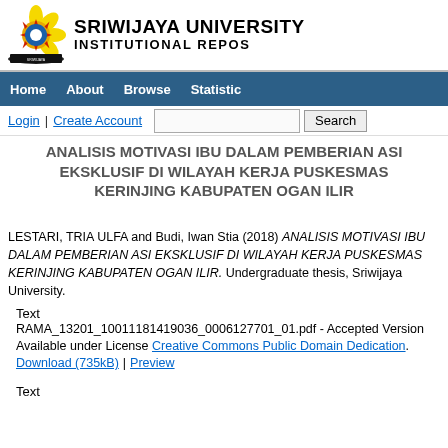[Figure (logo): Sriwijaya University logo — yellow flower with blue circle center, red sun rays, on a black base with text band]
SRIWIJAYA UNIVERSITY INSTITUTIONAL REPOSITORY
Home | About | Browse | Statistic
Login | Create Account [Search box] Search
ANALISIS MOTIVASI IBU DALAM PEMBERIAN ASI EKSKLUSIF DI WILAYAH KERJA PUSKESMAS KERINJING KABUPATEN OGAN ILIR
LESTARI, TRIA ULFA and Budi, Iwan Stia (2018) ANALISIS MOTIVASI IBU DALAM PEMBERIAN ASI EKSKLUSIF DI WILAYAH KERJA PUSKESMAS KERINJING KABUPATEN OGAN ILIR. Undergraduate thesis, Sriwijaya University.
Text
RAMA_13201_10011181419036_0006127701_01.pdf - Accepted Version
Available under License Creative Commons Public Domain Dedication.
Download (735kB) | Preview
Text